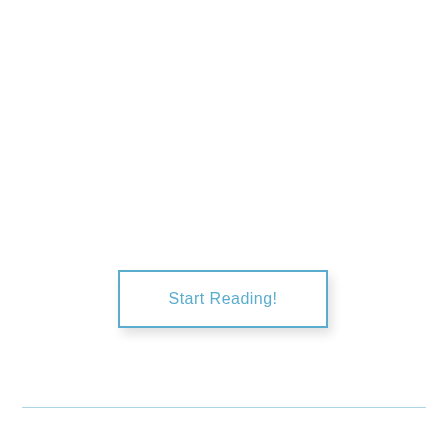[Figure (other): A button element with blue border and blue text reading 'Start Reading!' with a shadow effect, on a white background. A thin horizontal blue line appears near the bottom of the page.]